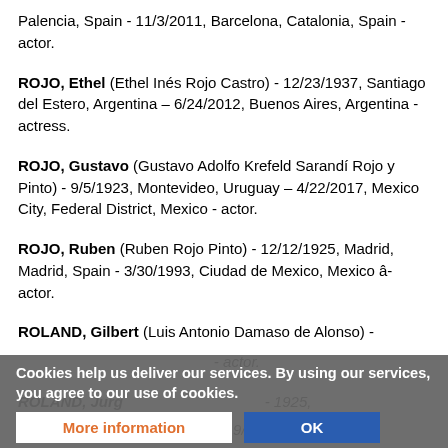Palencia, Spain - 11/3/2011, Barcelona, Catalonia, Spain - actor.
ROJO, Ethel (Ethel Inés Rojo Castro) - 12/23/1937, Santiago del Estero, Argentina – 6/24/2012, Buenos Aires, Argentina - actress.
ROJO, Gustavo (Gustavo Adolfo Krefeld Sarandí Rojo y Pinto) - 9/5/1923, Montevideo, Uruguay – 4/22/2017, Mexico City, Federal District, Mexico - actor.
ROJO, Ruben (Ruben Rojo Pinto) - 12/12/1925, Madrid, Madrid, Spain - 3/30/1993, Ciudad de Mexico, Mexico â- actor.
ROLAND, Gilbert (Luis Antonio Damaso de Alonso) -
- actor.
ROLAND, Jurg - 1925, Hamburg, Hamburg, Germany - 9/21/2007 - actor.
Cookies help us deliver our services. By using our services, you agree to our use of cookies.
More information
OK